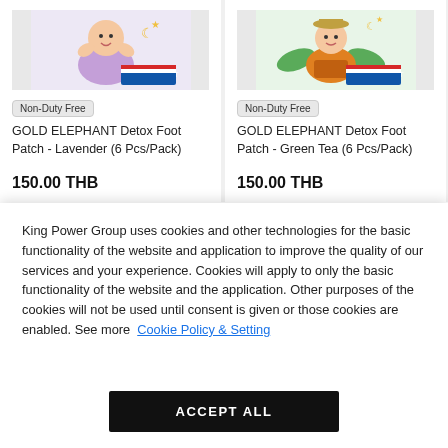[Figure (photo): Product card image: GOLD ELEPHANT Detox Foot Patch Lavender, cartoon baby with feet up]
Non-Duty Free
GOLD ELEPHANT Detox Foot Patch - Lavender (6 Pcs/Pack)
150.00 THB
[Figure (photo): Product card image: GOLD ELEPHANT Detox Foot Patch Green Tea, cartoon child with arms up]
Non-Duty Free
GOLD ELEPHANT Detox Foot Patch - Green Tea (6 Pcs/Pack)
150.00 THB
King Power Group uses cookies and other technologies for the basic functionality of the website and application to improve the quality of our services and your experience. Cookies will apply to only the basic functionality of the website and the application. Other purposes of the cookies will not be used until consent is given or those cookies are enabled. See more Cookie Policy & Setting
ACCEPT ALL